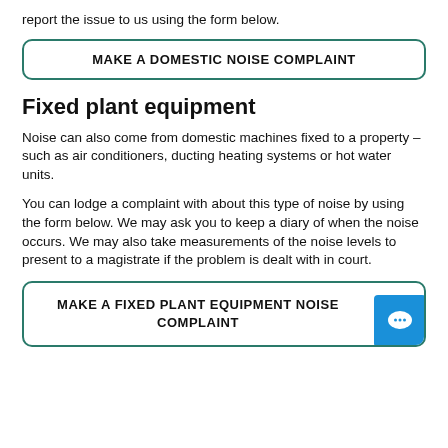report the issue to us using the form below.
MAKE A DOMESTIC NOISE COMPLAINT
Fixed plant equipment
Noise can also come from domestic machines fixed to a property – such as air conditioners, ducting heating systems or hot water units.
You can lodge a complaint with about this type of noise by using the form below. We may ask you to keep a diary of when the noise occurs. We may also take measurements of the noise levels to present to a magistrate if the problem is dealt with in court.
MAKE A FIXED PLANT EQUIPMENT NOISE COMPLAINT